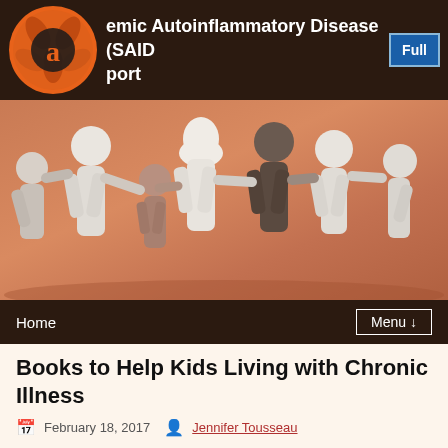Systemic Autoinflammatory Disease (SAID) Support
[Figure (photo): Paper cutout figures of people holding hands in a chain, on a warm brown/peach background, representing family and community support.]
Books to Help Kids Living with Chronic Illness
February 18, 2017   Jennifer Tousseau
These books reviewed by families dealing with periodic fever syndromes, aka autoinflammatory diseases, come highly recommended to share with your child. We've included books that will help kids who themselves are living with a chronic illness, or who have a sibling or parent who is chronically sick. These stories and journal will help kids and their families understand